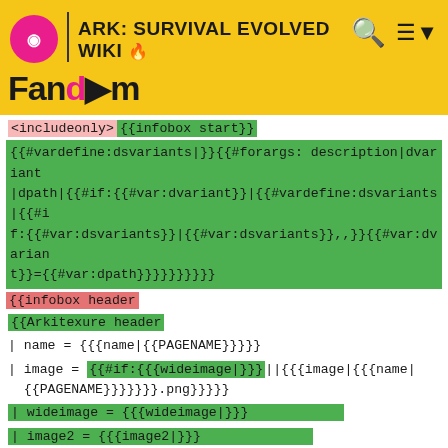ARK: SURVIVAL EVOLVED WIKI
<includeonly>{{infobox start}}
{{#vardefine:dsvariants|}}{{#forargs: description|dvariant|dpath|{{#if:{{#var:dvariant}}|{{#vardefine:dsvariants|{{#if:{{#var:dsvariants}}|{{#var:dsvariants}},,}}{{#var:dvariant}}={{#var:dpath}}}}}}}}
{{infobox header
{{Arkitexure header
| name = {{{name|{{PAGENAME}}}}}
| image = {{#if:{{{wideimage|}}}||{{{image|{{{name|{{PAGENAME}}}}}.png}}}}}
| wideimage = {{{wideimage|}}}
| image2 = {{{image2|}}}
| wideimage2 = {{{wideimage2|}}}
| image3 = {{{image3|}}}
| wideimage3 = {{{wideimage3|}}}
| image4 = {{{image4|}}}
| wideimage4 = {{{wideimage4|}}}
| image5 = {{{image5|}}}
| wideimage5 = {{{wideimage5|}}}